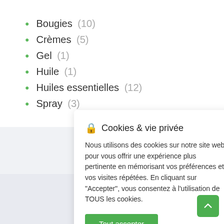Bougies (10)
Crèmes (5)
Gel (1)
Huile (1)
Huiles essentielles (12)
Spray (3)
🔒 Cookies & vie privée
Nous utilisons des cookies sur notre site web pour vous offrir une expérience plus pertinente en mémorisant vos préférences et vos visites répétées. En cliquant sur "Accepter", vous consentez à l'utilisation de TOUS les cookies.
Tout accepter